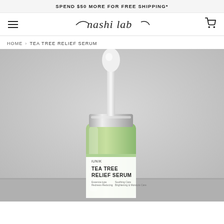SPEND $50 MORE FOR FREE SHIPPING*
[Figure (logo): nashi lab cursive logo in the navigation bar]
HOME › TEA TREE RELIEF SERUM
[Figure (photo): Product photo of iUNIK Tea Tree Relief Serum dropper bottle with green liquid, white dropper top, silver collar, and white label reading TEA TREE RELIEF SERUM, on a light grey background]